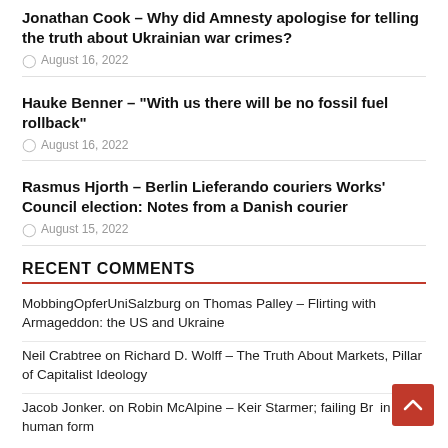Jonathan Cook – Why did Amnesty apologise for telling the truth about Ukrainian war crimes?
August 16, 2022
Hauke Benner – "With us there will be no fossil fuel rollback"
August 16, 2022
Rasmus Hjorth – Berlin Lieferando couriers Works' Council election: Notes from a Danish courier
August 15, 2022
RECENT COMMENTS
MobbingOpferUniSalzburg on Thomas Palley – Flirting with Armageddon: the US and Ukraine
Neil Crabtree on Richard D. Wolff – The Truth About Markets, Pillar of Capitalist Ideology
Jacob Jonker. on Robin McAlpine – Keir Starmer; failing Britain in human form
Oskar on Robin McAlpine – Keir Starmer; failing Britain in